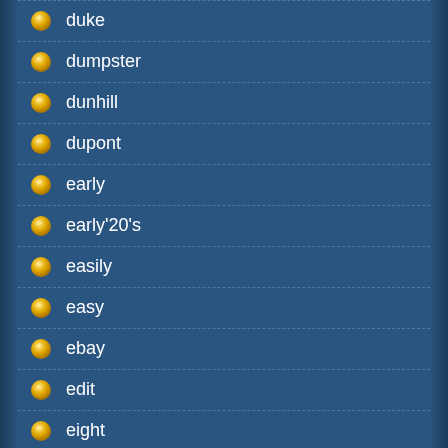duke
dumpster
dunhill
dupont
early
early'20's
easily
easy
ebay
edit
eight
elaborate
eldan
electro
elegance